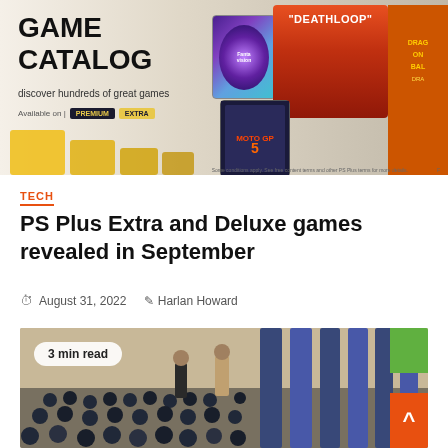[Figure (screenshot): PlayStation Game Catalog promotional banner showing game covers including Fantavision, Deathloop, and Dragon Ball, with text 'GAME CATALOG - discover hundreds of great games - Available on PREMIUM / EXTRA']
TECH
PS Plus Extra and Deluxe games revealed in September
August 31, 2022   Harlan Howard
[Figure (photo): Crowd of school children in navy uniforms sitting on the floor in a large hall, with two adults standing among them. Badge overlay reads '3 min read'.]